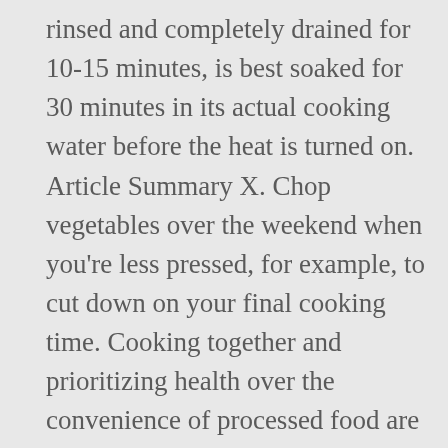rinsed and completely drained for 10-15 minutes, is best soaked for 30 minutes in its actual cooking water before the heat is turned on. Article Summary X. Chop vegetables over the weekend when you're less pressed, for example, to cut down on your final cooking time. Cooking together and prioritizing health over the convenience of processed food are great ways to lead by example and help your children buy into a culture of wellness. Itâ  s usually perfectly OK to skip an ingredient or substitute one thing for another. Or marinate in tangy lemon or lime before cooking. Inviting friends to join you can expand your social circle, which can